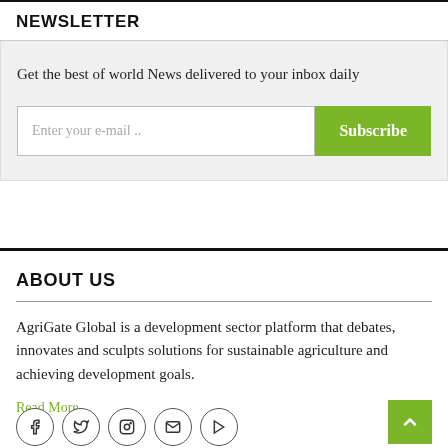NEWSLETTER
Get the best of world News delivered to your inbox daily
Enter your e-mail ...
Subscribe
ABOUT US
AgriGate Global is a development sector platform that debates, innovates and sculpts solutions for sustainable agriculture and achieving development goals.
Read More...